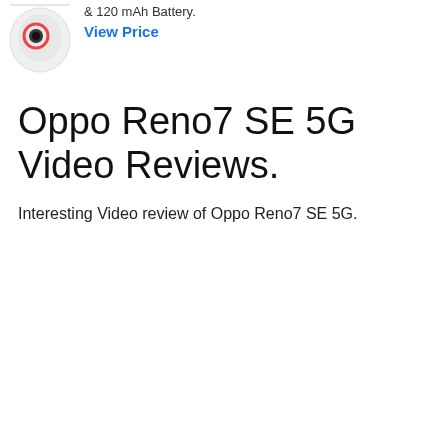[Figure (photo): Partial image of a smartphone (Oppo Reno7 SE 5G) at top left corner]
& 120 mAh Battery.
View Price
Oppo Reno7 SE 5G Video Reviews.
Interesting Video review of Oppo Reno7 SE 5G.